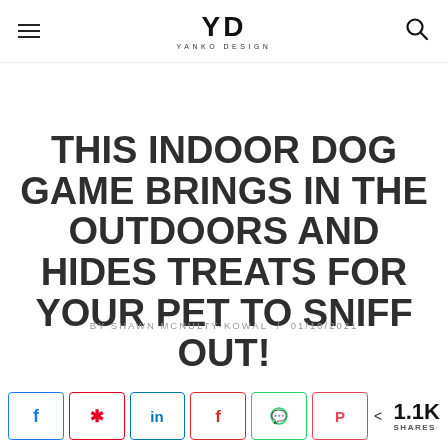YD YANKO DESIGN
THIS INDOOR DOG GAME BRINGS IN THE OUTDOORS AND HIDES TREATS FOR YOUR PET TO SNIFF OUT!
BY SHAWN MCNULTY-KOWAL / 01/10/2021
< 1.1K SHARES